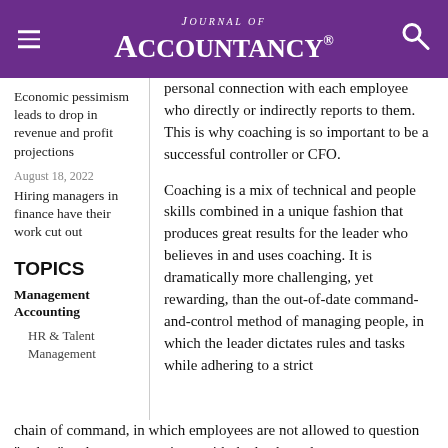Journal of Accountancy
Economic pessimism leads to drop in revenue and profit projections
August 18, 2022
Hiring managers in finance have their work cut out
TOPICS
Management Accounting
HR & Talent Management
personal connection with each employee who directly or indirectly reports to them. This is why coaching is so important to be a successful controller or CFO.
Coaching is a mix of technical and people skills combined in a unique fashion that produces great results for the leader who believes in and uses coaching. It is dramatically more challenging, yet rewarding, than the out-of-date command-and-control method of managing people, in which the leader dictates rules and tasks while adhering to a strict chain of command, in which employees are not allowed to question "orders" and can communicate with the leader only